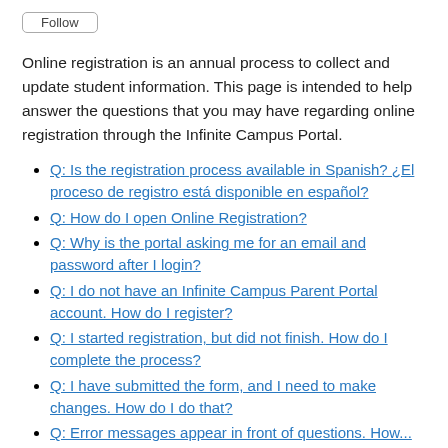Follow
Online registration is an annual process to collect and update student information. This page is intended to help answer the questions that you may have regarding online registration through the Infinite Campus Portal.
Q: Is the registration process available in Spanish? ¿El proceso de registro está disponible en español?
Q: How do I open Online Registration?
Q: Why is the portal asking me for an email and password after I login?
Q: I do not have an Infinite Campus Parent Portal account. How do I register?
Q: I started registration, but did not finish. How do I complete the process?
Q: I have submitted the form, and I need to make changes. How do I do that?
Q: Error messages appear in front of questions. How...